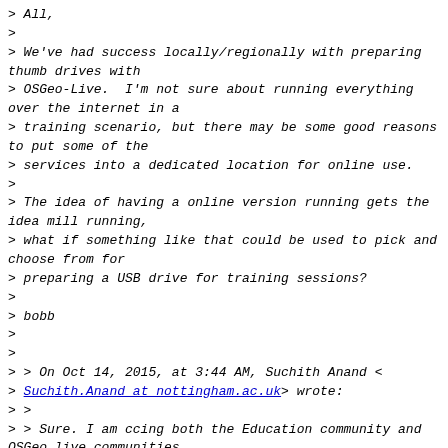> All,
>
> We've had success locally/regionally with preparing thumb drives with
> OSGeo-Live.  I'm not sure about running everything over the internet in a
> training scenario, but there may be some good reasons to put some of the
> services into a dedicated location for online use.
>
> The idea of having a online version running gets the idea mill running,
> what if something like that could be used to pick and choose from for
> preparing a USB drive for training sessions?
>
> bobb
>
>
> > On Oct 14, 2015, at 3:44 AM, Suchith Anand <
> Suchith.Anand at nottingham.ac.uk> wrote:
> >
> > Sure. I am ccing both the Education community and OSGeo live communities
> in this, so we get more ideas/inputs to make this possible.
> >
> > To give some background, we now have OSGeo Live being used not only for
> running workshops in FOSS4G conferences but in so